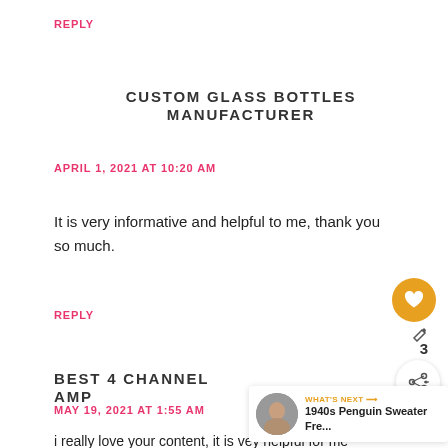REPLY
CUSTOM GLASS BOTTLES MANUFACTURER
APRIL 1, 2021 AT 10:20 AM
It is very informative and helpful to me, thank you so much.
REPLY
BEST 4 CHANNEL AMP
MAY 19, 2021 AT 1:55 AM
i really love your content, it is vey helpful for me